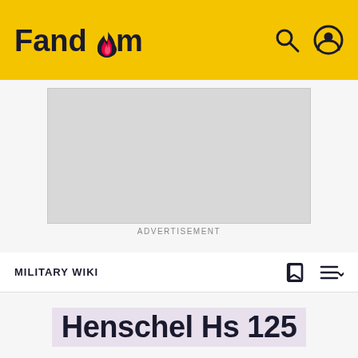Fandom
[Figure (other): Advertisement placeholder box]
ADVERTISEMENT
MILITARY WIKI
Henschel Hs 125